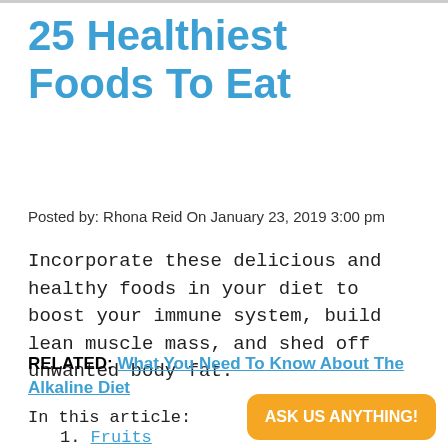25 Healthiest Foods To Eat
Posted by: Rhona Reid On January 23, 2019 3:00 pm
Incorporate these delicious and healthy foods in your diet to boost your immune system, build lean muscle mass, and shed off unwanted body fat.
RELATED: What You Need To Know About The Alkaline Diet
In this article:
1. Fruits
2. Vegetables